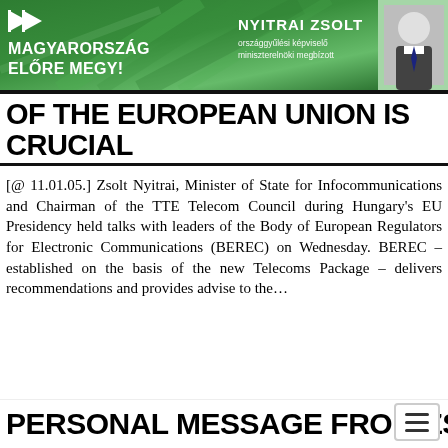[Figure (illustration): Green banner advertisement with Hungarian government branding: 'MAGYARORSZÁG ELŐRE MEGY!' slogan with arrow icons on left, 'NYITRAI ZSOLT országgyűlési képviselő miniszterelnöki megbízott' text and photo of man in suit on right.]
OF THE EUROPEAN UNION IS CRUCIAL
[@ 11.01.05.] Zsolt Nyitrai, Minister of State for Infocommunications and Chairman of the TTE Telecom Council during Hungary's EU Presidency held talks with leaders of the Body of European Regulators for Electronic Communications (BEREC) on Wednesday. BEREC – established on the basis of the new Telecoms Package – delivers recommendations and provides advise to the...
PERSONAL MESSAGE FROM ZS…